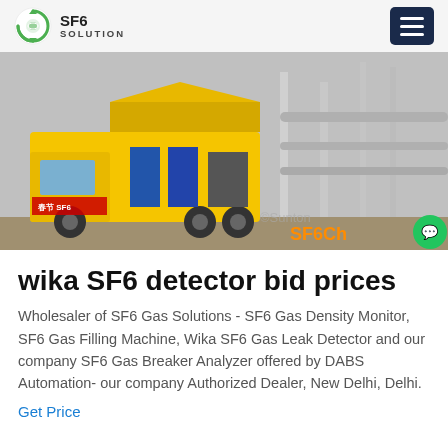SF6 SOLUTION
[Figure (photo): Yellow SF6 service truck with open compartment parked at an electrical substation with large pipes and transmission infrastructure. Text 'SF6Ch' visible in orange at bottom right of image.]
wika SF6 detector bid prices
Wholesaler of SF6 Gas Solutions - SF6 Gas Density Monitor, SF6 Gas Filling Machine, Wika SF6 Gas Leak Detector and our company SF6 Gas Breaker Analyzer offered by DABS Automation- our company Authorized Dealer, New Delhi, Delhi.
Get Price